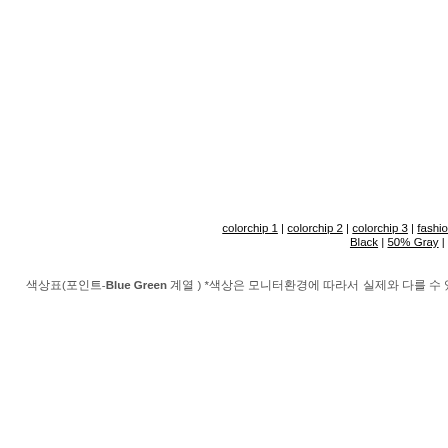colorchip 1 | colorchip 2 | colorchip 3 | fashio... Black | 50% Gray | ...
색상표(포인트-Blue Green 계열 ) *색상은 모니터환경에 따라서 실제와 다를 수 있습니다.